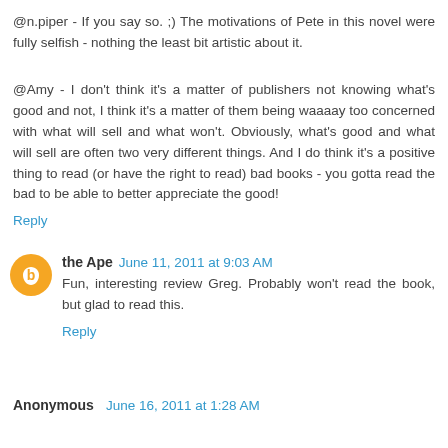@n.piper - If you say so. ;) The motivations of Pete in this novel were fully selfish - nothing the least bit artistic about it.
@Amy - I don't think it's a matter of publishers not knowing what's good and not, I think it's a matter of them being waaaay too concerned with what will sell and what won't. Obviously, what's good and what will sell are often two very different things. And I do think it's a positive thing to read (or have the right to read) bad books - you gotta read the bad to be able to better appreciate the good!
Reply
the Ape  June 11, 2011 at 9:03 AM
Fun, interesting review Greg. Probably won't read the book, but glad to read this.
Reply
Anonymous  June 16, 2011 at 1:28 AM